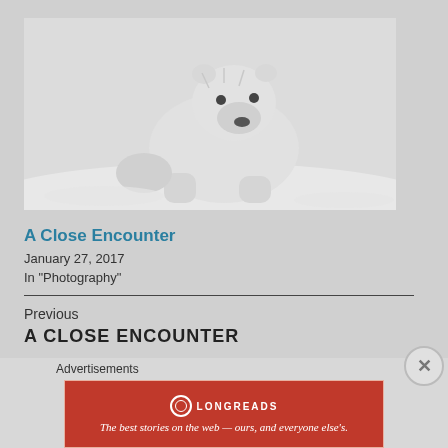[Figure (photo): Black and white photograph of a polar bear walking toward the camera in a snowy environment]
A Close Encounter
January 27, 2017
In "Photography"
Previous
A CLOSE ENCOUNTER
Advertisements
[Figure (infographic): Longreads advertisement banner in red: circle logo with L, text 'LONGREADS', tagline 'The best stories on the web — ours, and everyone else\'s.']